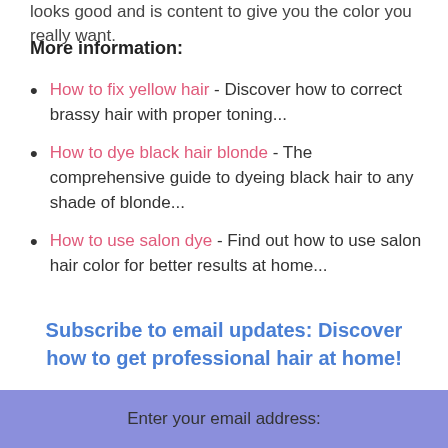looks good and is content to give you the color you really want.
More information:
How to fix yellow hair - Discover how to correct brassy hair with proper toning...
How to dye black hair blonde - The comprehensive guide to dyeing black hair to any shade of blonde...
How to use salon dye - Find out how to use salon hair color for better results at home...
Subscribe to email updates: Discover how to get professional hair at home!
Enter your email address: